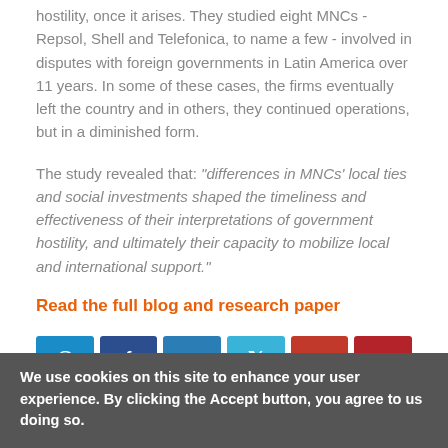hostility, once it arises. They studied eight MNCs - Repsol, Shell and Telefonica, to name a few - involved in disputes with foreign governments in Latin America over 11 years. In some of these cases, the firms eventually left the country and in others, they continued operations, but in a diminished form.
The study revealed that: “differences in MNCs’ local ties and social investments shaped the timeliness and effectiveness of their interpretations of government hostility, and ultimately their capacity to mobilize local and international support.”
Read the full blog and research paper
[Figure (other): Social sharing buttons: email, Facebook, LinkedIn, Twitter, Google+, Pinterest]
Last updated Monday, 25 April 2022
We use cookies on this site to enhance your user experience. By clicking the Accept button, you agree to us doing so.